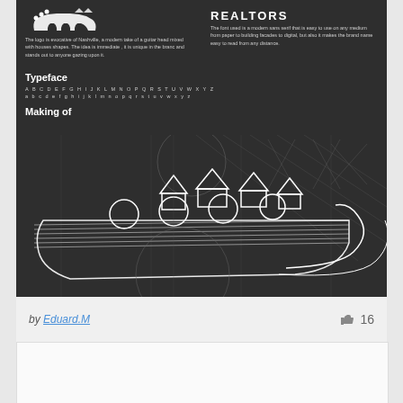[Figure (logo): Guitar head / house shape logo silhouette in white on dark background]
REALTORS
The logo is evocative of Nashville, a modern take of a guitar head mixed with houses shapes. The idea is immediate , it is unique in the branc and stands out to anyone gazing upon it.
The font used is a modern sans serif that is easy to use on any medium from paper to building facades to digital, but also it makes the brand name easy to read from any distance.
Typeface
A B C D E F G H I J K L M N O P Q R S T U V W X Y Z
a b c d e f g h i j k l m n o p q r s t u v w x y z
Making of
[Figure (illustration): Construction/making-of diagram showing geometric construction lines, circles, and the logo being built from guitar tuning pegs and house shapes in white line art on dark background]
by Eduard.M
16